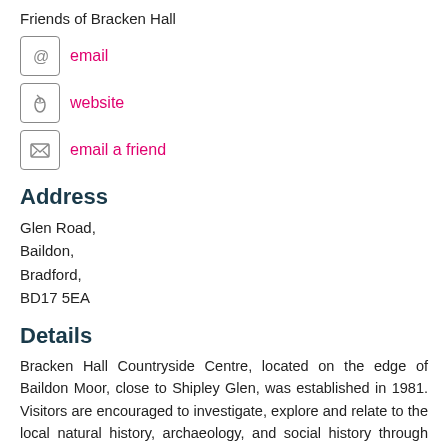Friends of Bracken Hall
email
website
email a friend
Address
Glen Road,
Baildon,
Bradford,
BD17 5EA
Details
Bracken Hall Countryside Centre, located on the edge of Baildon Moor, close to Shipley Glen, was established in 1981. Visitors are encouraged to investigate, explore and relate to the local natural history, archaeology, and social history through displays, themed activities and a wildlife garden, and engage and interpret the countryside via a year-round, seasonal programme of guided and self-guided walks, workshops, events and sessions with specialists. The Centre also facilitates